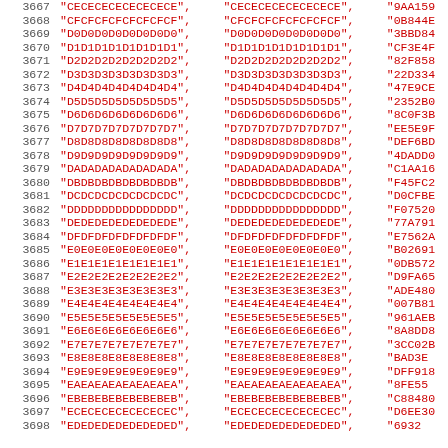| line | col1 | col2 | col3 |
| --- | --- | --- | --- |
| 3667 | "CECECECECECECECE" | "CECECECECECECECE" | "9AA159..." |
| 3668 | "CFCFCFCFCFCFCFCF" | "CFCFCFCFCFCFCFCF" | "0B844B..." |
| 3669 | "D0D0D0D0D0D0D0D0" | "D0D0D0D0D0D0D0D0" | "3BBD84..." |
| 3670 | "D1D1D1D1D1D1D1D1" | "D1D1D1D1D1D1D1D1" | "CF3E4F..." |
| 3671 | "D2D2D2D2D2D2D2D2" | "D2D2D2D2D2D2D2D2" | "82F858..." |
| 3672 | "D3D3D3D3D3D3D3D3" | "D3D3D3D3D3D3D3D3" | "22D334..." |
| 3673 | "D4D4D4D4D4D4D4D4" | "D4D4D4D4D4D4D4D4" | "47E9CB..." |
| 3674 | "D5D5D5D5D5D5D5D5" | "D5D5D5D5D5D5D5D5" | "2352B0..." |
| 3675 | "D6D6D6D6D6D6D6D6" | "D6D6D6D6D6D6D6D6" | "8C0F3B..." |
| 3676 | "D7D7D7D7D7D7D7D7" | "D7D7D7D7D7D7D7D7" | "EE5E9F..." |
| 3677 | "D8D8D8D8D8D8D8D8" | "D8D8D8D8D8D8D8D8" | "DEF6BD..." |
| 3678 | "D9D9D9D9D9D9D9D9" | "D9D9D9D9D9D9D9D9" | "4DADD0..." |
| 3679 | "DADADADADADADADА" | "DADADADADADADADA" | "C1AA16..." |
| 3680 | "DBDBDBDBDBDBDBDB" | "DBDBDBDBDBDBDBDB" | "F45FC2..." |
| 3681 | "DCDCDCDCDCDCDCDC" | "DCDCDCDCDCDCDCDC" | "D0CFBE..." |
| 3682 | "DDDDDDDDDDDDDDDD" | "DDDDDDDDDDDDDDDD" | "F07520..." |
| 3683 | "DEDEDEDEDEDEDEDE" | "DEDEDEDEDEDEDEDE" | "77A791..." |
| 3684 | "DFDFDFDFDFDFDFDF" | "DFDFDFDFDFDFDFDF" | "E7562A..." |
| 3685 | "E0E0E0E0E0E0E0E0" | "E0E0E0E0E0E0E0E0" | "B02691..." |
| 3686 | "E1E1E1E1E1E1E1E1" | "E1E1E1E1E1E1E1E1" | "0DB572..." |
| 3687 | "E2E2E2E2E2E2E2E2" | "E2E2E2E2E2E2E2E2" | "D9FA65..." |
| 3688 | "E3E3E3E3E3E3E3E3" | "E3E3E3E3E3E3E3E3" | "ADE480..." |
| 3689 | "E4E4E4E4E4E4E4E4" | "E4E4E4E4E4E4E4E4" | "007B81..." |
| 3690 | "E5E5E5E5E5E5E5E5" | "E5E5E5E5E5E5E5E5" | "961AEB..." |
| 3691 | "E6E6E6E6E6E6E6E6" | "E6E6E6E6E6E6E6E6" | "8A8DD8..." |
| 3692 | "E7E7E7E7E7E7E7E7" | "E7E7E7E7E7E7E7E7" | "3CC02B..." |
| 3693 | "E8E8E8E8E8E8E8E8" | "E8E8E8E8E8E8E8E8" | "BAD3E..." |
| 3694 | "E9E9E9E9E9E9E9E9" | "E9E9E9E9E9E9E9E9" | "DFF918..." |
| 3695 | "EAEAEAEAEAEAEAEA" | "EAEAEAEAEAEAEAEA" | "8FE55..." |
| 3696 | "EBEBEBEBEBEBEBEB" | "EBEBEBEBEBEBEBEB" | "C8848..." |
| 3697 | "ECECECECECECECEC" | "ECECECECECECECEC" | "D6EE30..." |
| 3698 | "EDEDEDEDEDEDEDЕD" | "EDEDEDEDEDEDEDЕD" | "6932..." |